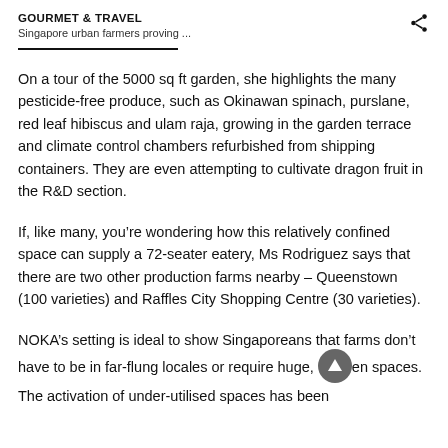GOURMET & TRAVEL
Singapore urban farmers proving ...
On a tour of the 5000 sq ft garden, she highlights the many pesticide-free produce, such as Okinawan spinach, purslane, red leaf hibiscus and ulam raja, growing in the garden terrace and climate control chambers refurbished from shipping containers. They are even attempting to cultivate dragon fruit in the R&D section.
If, like many, you're wondering how this relatively confined space can supply a 72-seater eatery, Ms Rodriguez says that there are two other production farms nearby – Queenstown (100 varieties) and Raffles City Shopping Centre (30 varieties).
NOKA's setting is ideal to show Singaporeans that farms don't have to be in far-flung locales or require huge, open spaces. The activation of under-utilised spaces has been